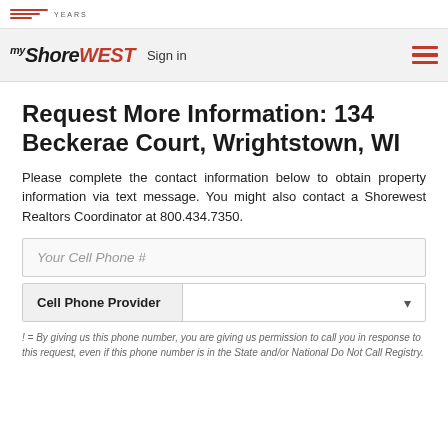myShoreWEST  Sign in
Request More Information: 134 Beckerae Court, Wrightstown, WI
Please complete the contact information below to obtain property information via text message. You might also contact a Shorewest Realtors Coordinator at 800.434.7350.
Your Cell Phone #
Cell Phone Provider
! = By giving us this phone number, you are giving us permission to call you in response to this request, even if this phone number is in the State and/or National Do Not Call Registry.